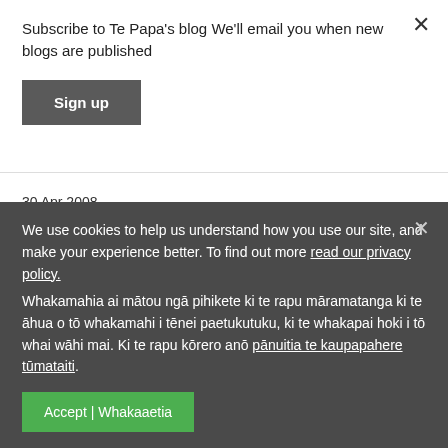Subscribe to Te Papa's blog We'll email you when new blogs are published
Sign up
30 Apr 2008
The eye of the colossal squid
Te Papa
We use cookies to help us understand how you use our site, and make your experience better. To find out more read our privacy policy. Whakamahia ai mātou ngā pihikete ki te rapu māramatanga ki te āhua o tō whakamahi i tēnei paetukutuku, ki te whakapai hoki i tō whai wāhi mai. Ki te rapu kōrero anō pānuitia te kaupapahere tūmataiti.
Accept | Whakaaetia